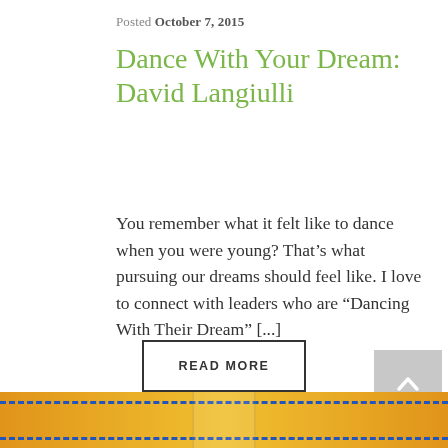Posted October 7, 2015
Dance With Your Dream: David Langiulli
You remember what it felt like to dance when you were young? That’s what pursuing our dreams should feel like. I love to connect with leaders who are “Dancing With Their Dream” [...]
READ MORE
[Figure (other): Scroll to top button with upward-pointing chevron arrow on grey background]
[Figure (illustration): Colorful illustration with orange/yellow background and blue dashed line, partial view at bottom of page]